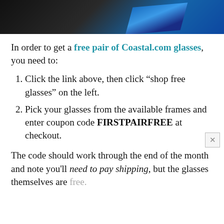[Figure (photo): Dark background photo showing glasses/eyewear with a blue reflective surface visible]
In order to get a free pair of Coastal.com glasses, you need to:
Click the link above, then click “shop free glasses” on the left.
Pick your glasses from the available frames and enter coupon code FIRSTPAIRFREE at checkout.
The code should work through the end of the month and note you’ll need to pay shipping, but the glasses themselves are free.